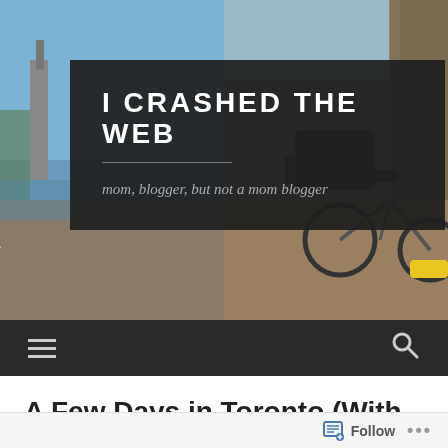[Figure (photo): Blog header banner with two outdoor photos side-by-side: left shows a city waterfront scene with buildings and a white sculptural sign, right shows a bicycle with yellow accents against a wooded backdrop. Dark semi-transparent overlay box in the center contains the blog title and tagline.]
I CRASHED THE WEB
mom, blogger, but not a mom blogger
[Figure (other): Dark navigation bar with hamburger menu icon on the left and search (magnifying glass) icon on the right]
A Few Days in Toronto (With
Follow